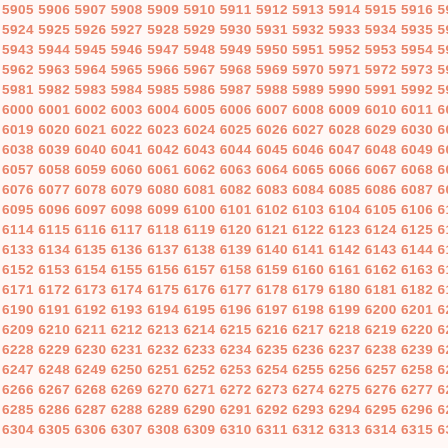Sequential number grid from 5905 to approximately 6315, displayed in rows of 13 numbers each, in salmon/coral color on light background.